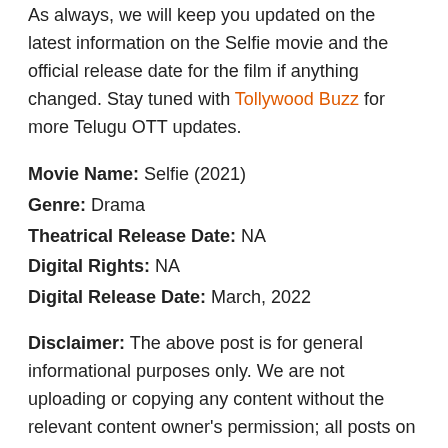As always, we will keep you updated on the latest information on the Selfie movie and the official release date for the film if anything changed. Stay tuned with Tollywood Buzz for more Telugu OTT updates.
Movie Name: Selfie (2021)
Genre: Drama
Theatrical Release Date: NA
Digital Rights: NA
Digital Release Date: March, 2022
Disclaimer: The above post is for general informational purposes only. We are not uploading or copying any content without the relevant content owner's permission; all posts on this website is furnished in good faith. However, we make no representation or warranty of any kind, express or implied, regarding the accuracy, availability, adequacy, reliability, validity, or completeness of any information on the website.